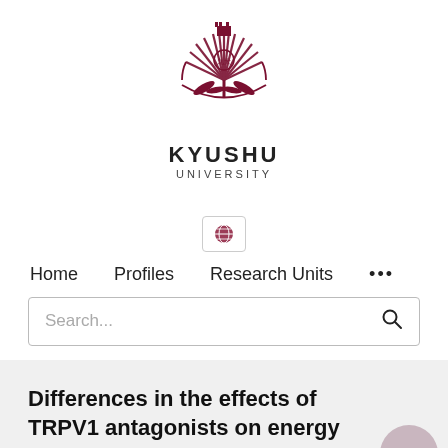[Figure (logo): Kyushu University logo — a sunburst/wheat-sheaf crest in dark red/maroon with a castle tower motif at the top center]
KYUSHU
UNIVERSITY
[Figure (other): Globe/world icon inside a bordered box (language/region selector)]
Home   Profiles   Research Units   ...
Search...
Differences in the effects of TRPV1 antagonists on energy metabolism in mice